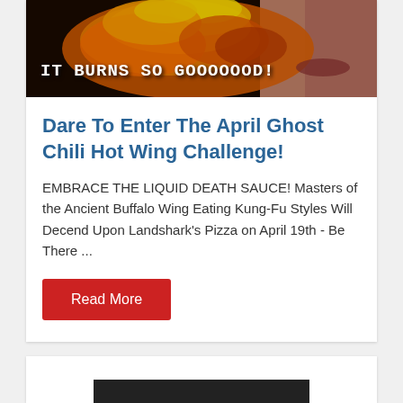[Figure (photo): A dramatic photo of fire/flames being breathed or blown, with text overlay 'IT BURNS SO GOOOOOOD!' in bold white monospace font on a dark background.]
Dare To Enter The April Ghost Chili Hot Wing Challenge!
EMBRACE THE LIQUID DEATH SAUCE! Masters of the Ancient Buffalo Wing Eating Kung-Fu Styles Will Decend Upon Landshark's Pizza on April 19th - Be There ...
Read More